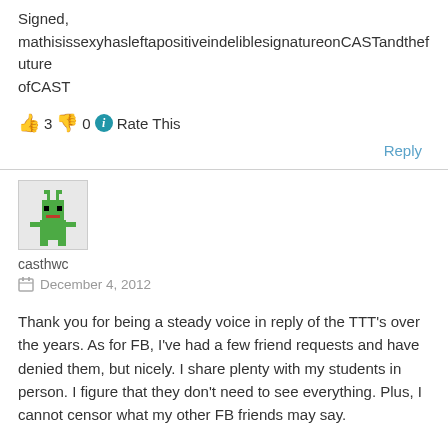Signed, mathisissexyhаsleftapositiveindeliblesignatureonCASTandthefutureofCAST
👍 3 👎 0 ℹ Rate This
Reply
[Figure (illustration): Green pixel-art alien avatar icon]
casthwc
December 4, 2012
Thank you for being a steady voice in reply of the TTT's over the years. As for FB, I've had a few friend requests and have denied them, but nicely. I share plenty with my students in person. I figure that they don't need to see everything. Plus, I cannot censor what my other FB friends may say.